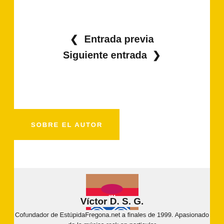< Entrada previa
Siguiente entrada >
SOBRE EL AUTOR
[Figure (photo): Photo of a person wearing a red 'I'M ANALOG' t-shirt with a blue wave logo]
Víctor D. S. G.
Cofundador de EstúpidaFregona.net a finales de 1999. Apasionado de la música rock en particular...